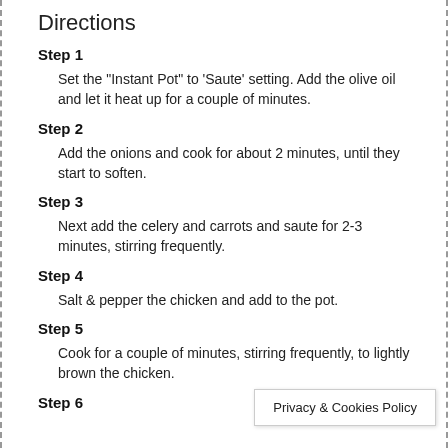Directions
Step 1
Set the "Instant Pot" to 'Saute' setting. Add the olive oil and let it heat up for a couple of minutes.
Step 2
Add the onions and cook for about 2 minutes, until they start to soften.
Step 3
Next add the celery and carrots and saute for 2-3 minutes, stirring frequently.
Step 4
Salt & pepper the chicken and add to the pot.
Step 5
Cook for a couple of minutes, stirring frequently, to lightly brown the chicken.
Step 6
Privacy & Cookies Policy